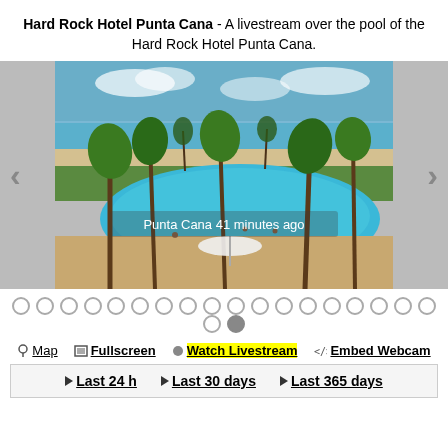Hard Rock Hotel Punta Cana - A livestream over the pool of the Hard Rock Hotel Punta Cana.
[Figure (photo): Aerial livestream view of the Hard Rock Hotel Punta Cana pool area with palm trees, beach, and ocean in the background. Overlay text reads 'Punta Cana 41 minutes ago'.]
Dot navigation indicators (carousel dots, last one active)
Map | Fullscreen | Watch Livestream | Embed Webcam
Last 24 h | Last 30 days | Last 365 days